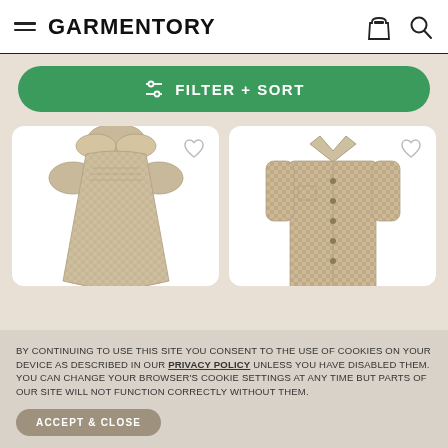GARMENTORY
FILTER + SORT
[Figure (photo): Children's plaid smock dress with peter pan collar and puffed short sleeves in beige/tan check fabric]
[Figure (photo): Children's short-sleeve button-up shirt in beige/tan gingham check fabric]
BY CONTINUING TO USE THIS SITE YOU CONSENT TO THE USE OF COOKIES ON YOUR DEVICE AS DESCRIBED IN OUR PRIVACY POLICY UNLESS YOU HAVE DISABLED THEM. YOU CAN CHANGE YOUR BROWSER'S COOKIE SETTINGS AT ANY TIME BUT PARTS OF OUR SITE WILL NOT FUNCTION CORRECTLY WITHOUT THEM.
ACCEPT & CLOSE